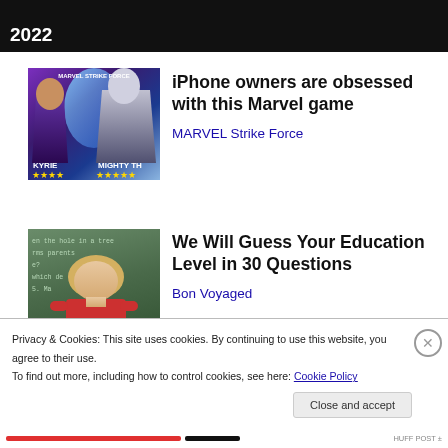2022
[Figure (photo): Marvel Strike Force game advertisement showing two characters: KYRIE and MIGHTY TH(OR), with star ratings]
iPhone owners are obsessed with this Marvel game
MARVEL Strike Force
[Figure (photo): Woman in red dress standing in front of a chalkboard with text, appearing to be a teacher]
We Will Guess Your Education Level in 30 Questions
Bon Voyaged
Privacy & Cookies: This site uses cookies. By continuing to use this website, you agree to their use.
To find out more, including how to control cookies, see here: Cookie Policy
Close and accept